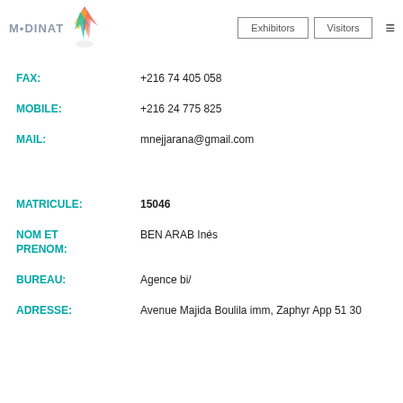MEDINAT | Exhibitors | Visitors
FAX: +216 74 405 058
MOBILE: +216 24 775 825
MAIL: mnejjarana@gmail.com
MATRICULE: 15046
NOM ET PRENOM: BEN ARAB Inés
BUREAU: Agence bi/
ADRESSE: Avenue Majida Boulila imm, Zaphyr App 51 30